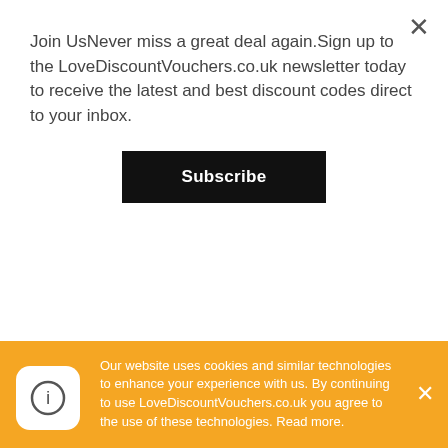Join UsNever miss a great deal again.Sign up to the LoveDiscountVouchers.co.uk newsletter today to receive the latest and best discount codes direct to your inbox.
Subscribe
Can I exchange my items?
Locksmith Keyless only replace items if they are defective or damaged. If you need to exchange it for the same item, send them an email at sales@ecs-america.com and send your item to 7263 NW 12 St Miami Florida US 33126.
What is your return policy?
Our website uses cookies and similar technologies to enhance your experience with us. By continuing to use LoveDiscountVouchers.co.uk you agree to the use of these technologies. Read more.